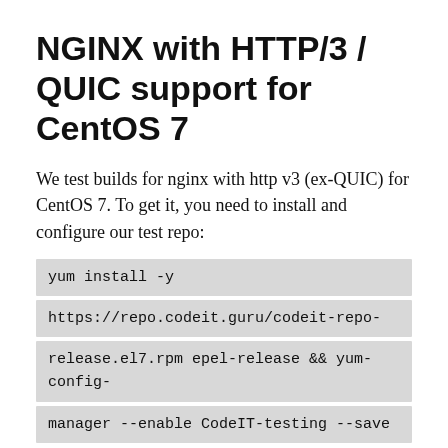NGINX with HTTP/3 / QUIC support for CentOS 7
We test builds for nginx with http v3 (ex-QUIC) for CentOS 7. To get it, you need to install and configure our test repo:
yum install -y https://repo.codeit.guru/codeit-repo-release.el7.rpm epel-release && yum-config-manager --enable CodeIT-testing --save
The package has version 1.26.1-2, but defined nginx binary version is 1.27.1. This is a known